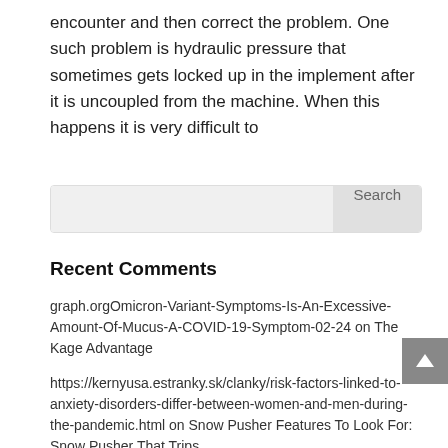encounter and then correct the problem. One such problem is hydraulic pressure that sometimes gets locked up in the implement after it is uncoupled from the machine. When this happens it is very difficult to
Recent Comments
graph.orgOmicron-Variant-Symptoms-Is-An-Excessive-Amount-Of-Mucus-A-COVID-19-Symptom-02-24 on The Kage Advantage
https://kernyusa.estranky.sk/clanky/risk-factors-linked-to-anxiety-disorders-differ-between-women-and-men-during-the-pandemic.html on Snow Pusher Features To Look For: Snow Pusher That Trips
http://andere.strikingly.com/ on Snow Pusher Key Features: Snow Pusher That Oscillates